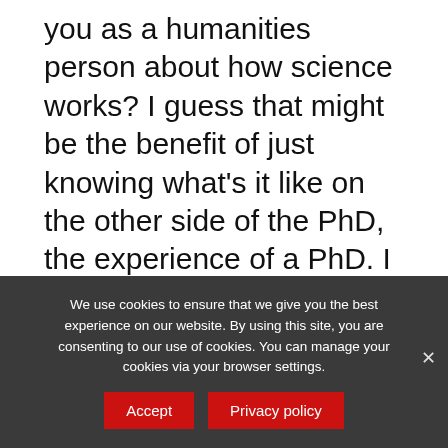you as a humanities person about how science works? I guess that might be the benefit of just knowing what's it like on the other side of the PhD, the experience of a PhD. I think a lot of our earlier episodes were literally debunking what we thought about the other respective disciplines and seeing that we actually had more in common in the struggle.
We use cookies to ensure that we give you the best experience on our website. By using this site, you are consenting to our use of cookies. You can manage your cookies via your browser settings.